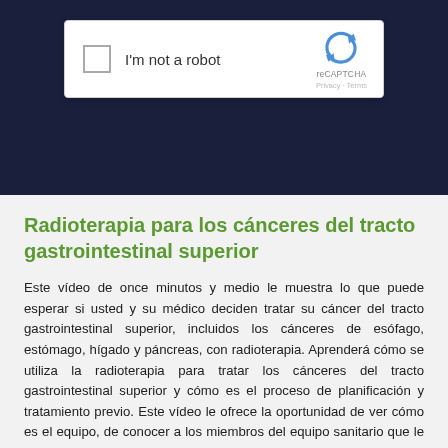[Figure (screenshot): Google reCAPTCHA widget showing 'I'm not a robot' checkbox on a dark navy background]
Radioterapia para los cánceres del tracto gastrointestinal superior
Este vídeo de once minutos y medio le muestra lo que puede esperar si usted y su médico deciden tratar su cáncer del tracto gastrointestinal superior, incluidos los cánceres de esófago, estómago, hígado y páncreas, con radioterapia. Aprenderá cómo se utiliza la radioterapia para tratar los cánceres del tracto gastrointestinal superior y cómo es el proceso de planificación y tratamiento previo. Este vídeo le ofrece la oportunidad de ver cómo es el equipo, de conocer a los miembros del equipo sanitario que le está tratando, de escuchar a los pacientes y de conocer los efectos secundarios.